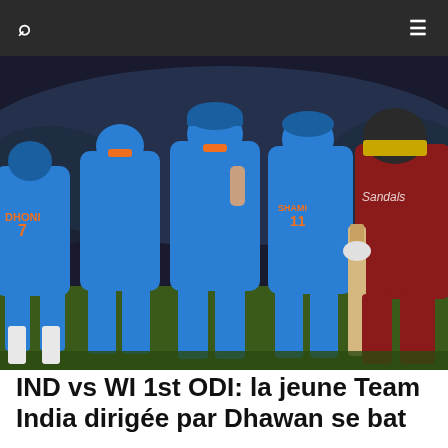Search | Menu
[Figure (photo): Cricket players in blue India jerseys (including player with DHONI 7 on jersey) shaking hands or talking with a West Indies player in maroon jersey holding a cricket bat, on a cricket field at night.]
IND vs WI 1st ODI: la jeune Team India dirigée par Dhawan se bat